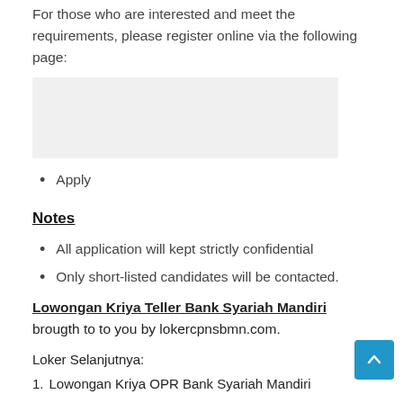For those who are interested and meet the requirements, please register online via the following page:
[Figure (other): Gray placeholder box representing an embedded web link/registration page]
Apply
Notes
All application will kept strictly confidential
Only short-listed candidates will be contacted.
Lowongan Kriya Teller Bank Syariah Mandiri brought to to you by lokercpnsbmn.com.
Loker Selanjutnya:
Lowongan Kriya OPR Bank Syariah Mandiri